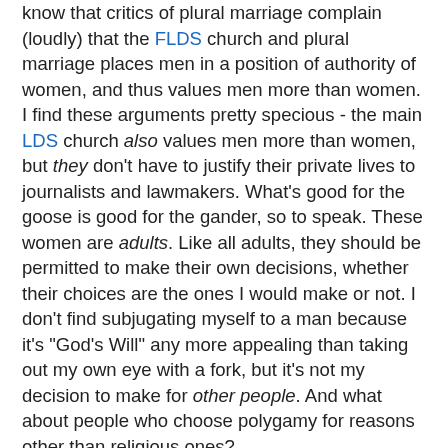know that critics of plural marriage complain (loudly) that the FLDS church and plural marriage places men in a position of authority of women, and thus values men more than women. I find these arguments pretty specious - the main LDS church also values men more than women, but they don't have to justify their private lives to journalists and lawmakers. What's good for the goose is good for the gander, so to speak. These women are adults. Like all adults, they should be permitted to make their own decisions, whether their choices are the ones I would make or not. I don't find subjugating myself to a man because it's "God's Will" any more appealing than taking out my own eye with a fork, but it's not my decision to make for other people. And what about people who choose polygamy for reasons other than religious ones?
If avoiding hypocrisy is a goal, then I think allowing polygamous families to live openly and enjoy rights and privileges associated with traditional marriage is the least we can do, if we allow other non-traditional families the same rights. What's the difference between supporting gay equality and supporting polygamous equality? None. So stop